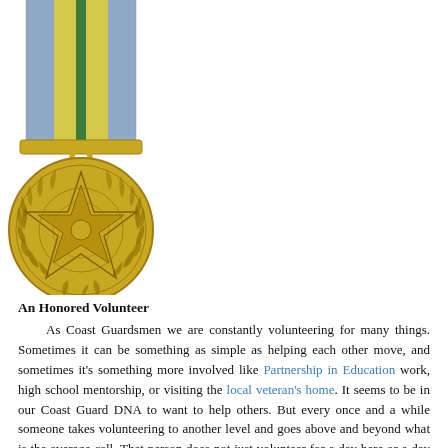[Figure (illustration): A military volunteer service medal with a gold circular medallion featuring a star design and wreath border, hanging from a striped ribbon in blue, yellow, and green vertical stripes.]
An Honored Volunteer
As Coast Guardsmen we are constantly volunteering for many things. Sometimes it can be something as simple as helping each other move, and sometimes it's something more involved like Partnership in Education work, high school mentorship, or visiting the local veteran's home. It seems to be in our Coast Guard DNA to want to help others. But every once and a while someone takes volunteering to another level and goes above and beyond what is the average call. That person does not just volunteer for a day here or a day there, but is committed to a cause; a cause that truly effects not only the lives of